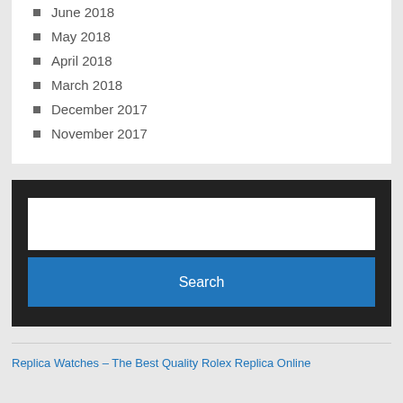June 2018
May 2018
April 2018
March 2018
December 2017
November 2017
[Figure (screenshot): Search box with white input field and blue Search button on dark background]
Replica Watches – The Best Quality Rolex Replica Online